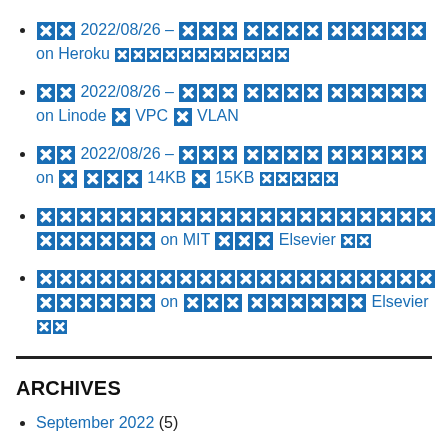XX 2022/08/26 - XXX XXXX XXXXX on Heroku XXXXXXXXXXX
XX 2022/08/26 - XXX XXXX XXXXX on Linode X VPC X VLAN
XX 2022/08/26 - XXX XXXX XXXXX on X XXX 14KB X 15KB XXXXX
XXXXXXXXXXXXXXXXXXXXXXXXXX on MIT XXX Elsevier XX
XXXXXXXXXXXXXXXXXXXXXXXXXX on XXX XXXXXX Elsevier XX
ARCHIVES
September 2022 (5)